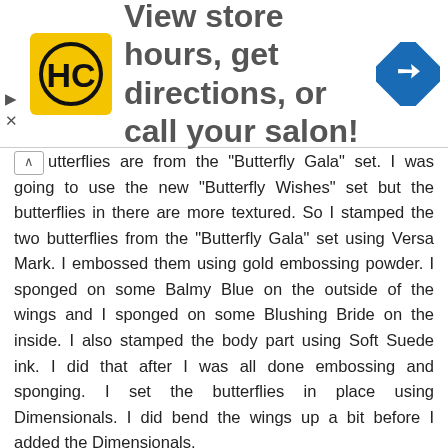[Figure (infographic): Advertisement banner: HC logo (yellow square with HC letters), text 'View store hours, get directions, or call your salon!', and a blue diamond direction sign icon. Navigation arrows on the left side.]
utterflies are from the "Butterfly Gala" set. I was going to use the new "Butterfly Wishes" set but the butterflies in there are more textured. So I stamped the two butterflies from the "Butterfly Gala" set using Versa Mark. I embossed them using gold embossing powder. I sponged on some Balmy Blue on the outside of the wings and I sponged on some Blushing Bride on the inside. I also stamped the body part using Soft Suede ink. I did that after I was all done embossing and sponging. I set the butterflies in place using Dimensionals. I did bend the wings up a bit before I added the Dimensionals.
I REALLY like how this card looks. It's SO soft and pretty looking. I LOVE this layout and I think I may dig out some retired DSP and use it to make more cards like this. I have way too much retired papers. But using a 1-5/8" wide piece would take a long time to use up my DSP!!! LOL But at least I would be using some of it, right?